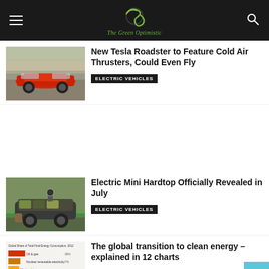[Figure (logo): The Green Optimistic website logo - circular green swirl icon with italic green text below]
New Tesla Roadster to Feature Cold Air Thrusters, Could Even Fly
ELECTRIC VEHICLES
[Figure (photo): Red Tesla Roadster sports car driving on a road with hills in background]
Electric Mini Hardtop Officially Revealed in July
ELECTRIC VEHICLES
[Figure (photo): Camouflaged electric Mini Hardtop prototype car being charged]
The global transition to clean energy – explained in 12 charts
[Figure (infographic): Chart showing global share of total final energy consumption 2012 with pie/bar breakdown]